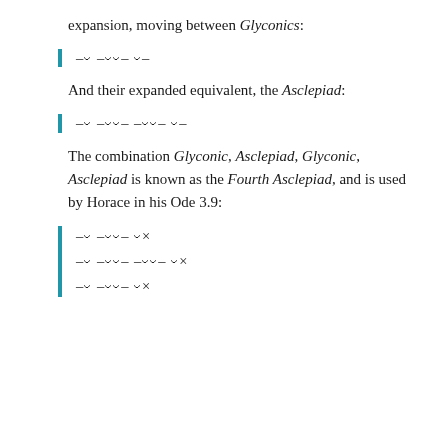expansion, moving between Glyconics:
And their expanded equivalent, the Asclepiad:
The combination Glyconic, Asclepiad, Glyconic, Asclepiad is known as the Fourth Asclepiad, and is used by Horace in his Ode 3.9: